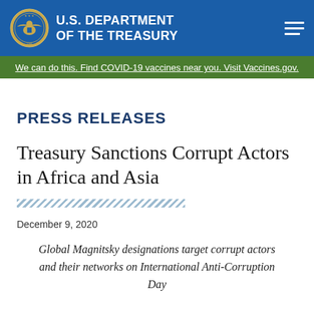U.S. DEPARTMENT OF THE TREASURY
We can do this. Find COVID-19 vaccines near you. Visit Vaccines.gov.
PRESS RELEASES
Treasury Sanctions Corrupt Actors in Africa and Asia
December 9, 2020
Global Magnitsky designations target corrupt actors and their networks on International Anti-Corruption Day